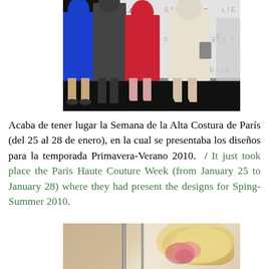[Figure (photo): Fashion event photo showing people in formal attire (blue dress, suit, red dress, cream dress) at what appears to be an Elie Saab branded event backdrop. Only lower bodies/legs visible.]
Acaba de tener lugar la Semana de la Alta Costura de París (del 25 al 28 de enero), en la cual se presentaba los diseños para la temporada Primavera-Verano 2010. / It just took place the Paris Haute Couture Week (from January 25 to January 28) where they had present the designs for Sping-Summer 2010.
[Figure (photo): Partial image of a fashion setting with vertical lines and a blonde person visible, likely at a fashion show or boutique.]